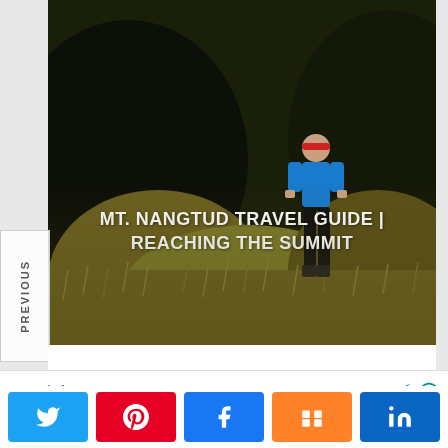[Figure (photo): Hero image of a person standing on Mt. Nangtud with green grassy hills and dark mountains in background. White bold title text overlaid: 'MT. NANGTUD TRAVEL GUIDE | REACHING THE SUMMIT'. Faded italic text at top reading 't. Nangt' partially visible.]
PREVIOUS
Search for
[Figure (infographic): Social share buttons row: Twitter (blue), Pinterest (red), Facebook (blue), Mix (orange), LinkedIn (dark blue)]